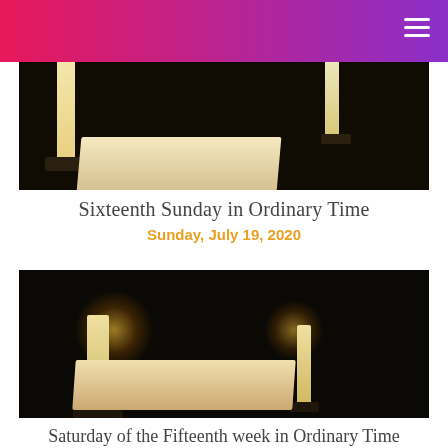[Figure (photo): Dark church interior with two candles and an open book on an altar, viewed from above]
Sixteenth Sunday in Ordinary Time
Sunday, July 19, 2020
[Figure (photo): Dark church interior with two lit candles and an open book on an altar]
Saturday of the Fifteenth week in Ordinary Time
Saturday, July 18, 2020